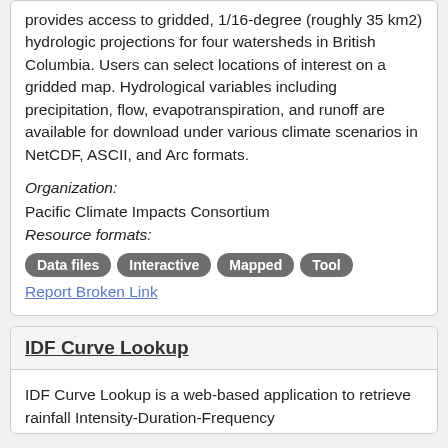provides access to gridded, 1/16-degree (roughly 35 km2) hydrologic projections for four watersheds in British Columbia. Users can select locations of interest on a gridded map. Hydrological variables including precipitation, flow, evapotranspiration, and runoff are available for download under various climate scenarios in NetCDF, ASCII, and Arc formats.
Organization: Pacific Climate Impacts Consortium
Resource formats:
Data files
Interactive
Mapped
Tool
Report Broken Link
IDF Curve Lookup
IDF Curve Lookup is a web-based application to retrieve rainfall Intensity-Duration-Frequency